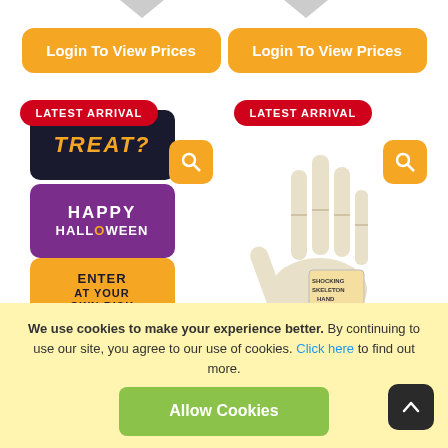[Figure (screenshot): Two orange 'Login To View Prices' buttons side by side]
[Figure (photo): Halloween cookie/biscuit product with three stacked tins: black 'TREAT?', purple 'HAPPY HALLOWEEN', orange 'ENTER AT YOUR OWN RISK', with LATEST ARRIVAL badge and PW logo]
[Figure (photo): Skeleton hand product with LATEST ARRIVAL badge and PW logo]
We use cookies to make your experience better. By continuing to use our site, you agree to our use of cookies. Click here to find out more.
Allow Cookies